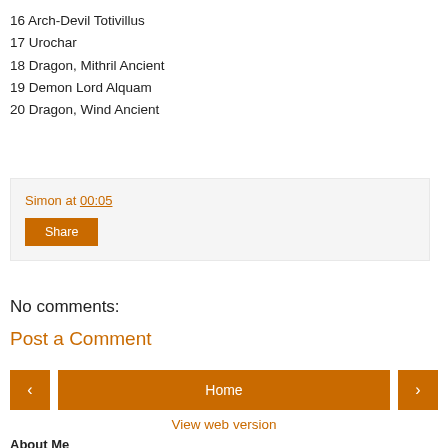16 Arch-Devil Totivillus
17 Urochar
18 Dragon, Mithril Ancient
19 Demon Lord Alquam
20 Dragon, Wind Ancient
Simon at 00:05
Share
No comments:
Post a Comment
Home
View web version
About Me